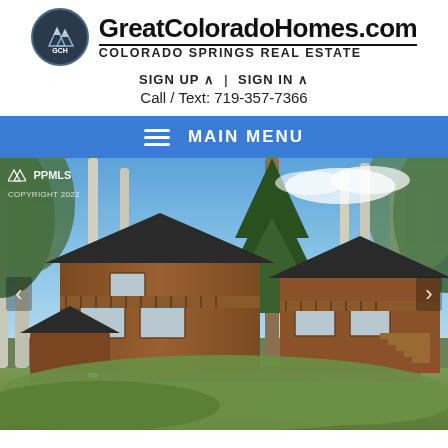[Figure (logo): GreatColoradoHomes.com logo with mountain/GCH circle emblem]
GreatColoradoHomes.com
COLORADO SPRINGS REAL ESTATE
SIGN UP ∨  |  SIGN IN ∨
Call / Text: 719-357-7366
MAIN MENU
[Figure (photo): Exterior photo of a large two-story log/wood cabin home with wraparound decks and stairs, surrounded by pine and aspen trees, with PPMLS COPYRIGHT 2022 watermark]